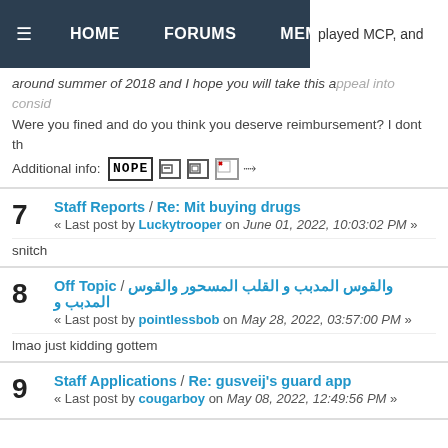≡  HOME   FORUMS   MEMBERS   played MCP, and...
around summer of 2018 and I hope you will take this appeal into consid...
Were you fined and do you think you deserve reimbursement? I dont th...
Additional info: NOPE [icons]
7  Staff Reports / Re: Mit buying drugs
« Last post by Luckytrooper on June 01, 2022, 10:03:02 PM »
snitch
8  Off Topic / والقوس المدبب و القلب المسحور والقوس المدبب و...
« Last post by pointlessbob on May 28, 2022, 03:57:00 PM »
lmao just kidding gottem
9  Staff Applications / Re: gusveij's guard app
« Last post by cougarboy on May 08, 2022, 12:49:56 PM »